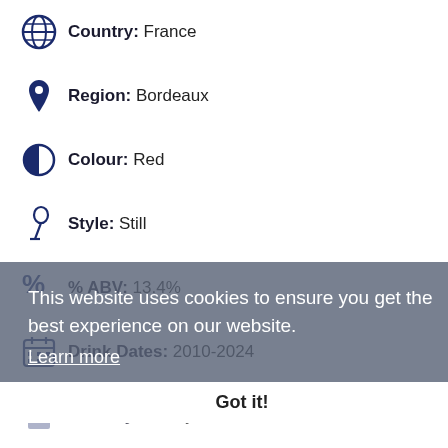Country: France
Region: Bordeaux
Colour: Red
Style: Still
% ABV: 13.4%
Drink Dates: 2010-2024
Maturity: Ready to Drink
Sweetness: 1
Grape Variety: Cabernet Franc, Cabernet Sauvignon, Merlot, Petit Verdot
This website uses cookies to ensure you get the best experience on our website. Learn more   Got it!